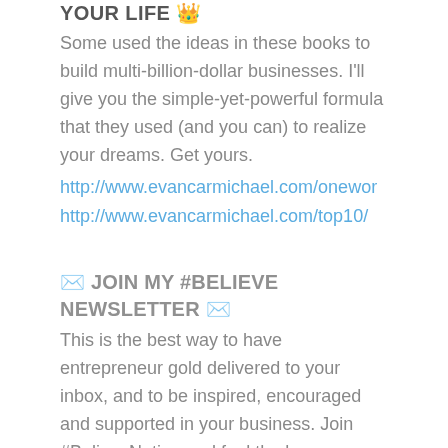YOUR LIFE 👑
Some used the ideas in these books to build multi-billion-dollar businesses. I'll give you the simple-yet-powerful formula that they used (and you can) to realize your dreams. Get yours.
http://www.evancarmichael.com/onewor
http://www.evancarmichael.com/top10/
✉ JOIN MY #BELIEVE NEWSLETTER ✉
This is the best way to have entrepreneur gold delivered to your inbox, and to be inspired, encouraged and supported in your business. Join #BelieveNation and feel the love.
http://www.evancarmichael.com/newsle
🏁 SUBSCRIBE TO MY CHANNEL 🏁